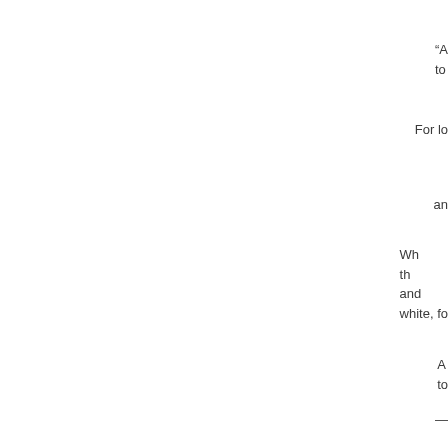“A to
For lo
an
Wh th and white, fo
A to
—